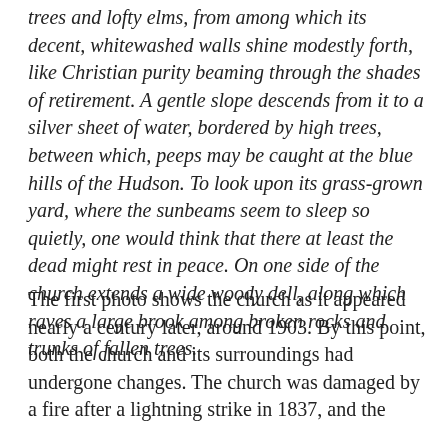trees and lofty elms, from among which its decent, whitewashed walls shine modestly forth, like Christian purity beaming through the shades of retirement. A gentle slope descends from it to a silver sheet of water, bordered by high trees, between which, peeps may be caught at the blue hills of the Hudson. To look upon its grass-grown yard, where the sunbeams seem to sleep so quietly, one would think that there at least the dead might rest in peace. On one side of the church extends a wide woody dell, along which raves a large brook among broken rocks and trunks of fallen trees.
The first photo shows the church as it appeared nearly a century later, around 1903. By this point, both the church and its surroundings had undergone changes. The church was damaged by a fire after a lightning strike in 1837, and the